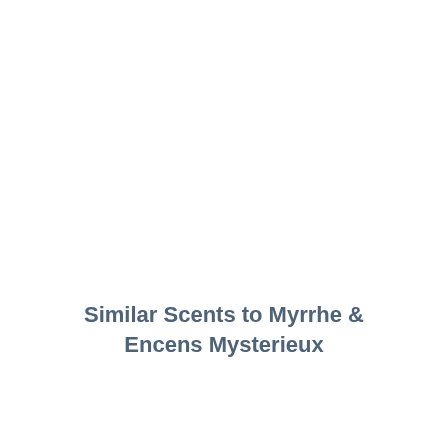Similar Scents to Myrrhe & Encens Mysterieux